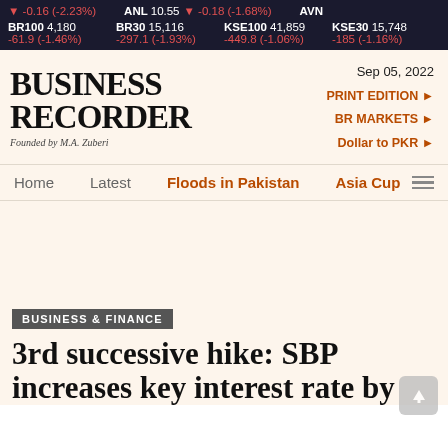▼ -0.16 (-2.23%) | ANL 10.55 ▼ -0.18 (-1.68%) | AVN | BR100 4,180 -61.9 (-1.46%) | BR30 15,116 -297.1 (-1.93%) | KSE100 41,859 -449.8 (-1.06%) | KSE30 15,748 -185 (-1.16%)
BUSINESS RECORDER
Founded by M.A. Zuberi
Sep 05, 2022
PRINT EDITION ►
BR MARKETS ►
Dollar to PKR ►
Home   Latest   Floods in Pakistan   Asia Cup
BUSINESS & FINANCE
3rd successive hike: SBP increases key interest rate by